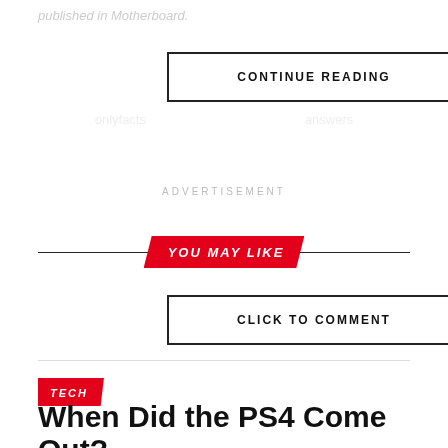published in Motherboard.
CONTINUE READING
ADVERTISEMENT
YOU MAY LIKE
CLICK TO COMMENT
TECH
When Did the PS4 Come Out? [PlayStation 4, Slim, and Pro]